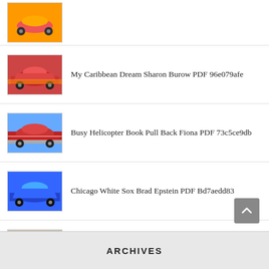(partial item at top, car thumbnail only)
My Caribbean Dream Sharon Burow PDF 96e079afe
Busy Helicopter Book Pull Back Fiona PDF 73c5ce9db
Chicago White Sox Brad Epstein PDF Bd7aedd83
Bears Chairs Shirley Parenteau PDF E9a0fe114
Twinkle Little Star Jeanette Winter PDF Ef95bae98
ARCHIVES